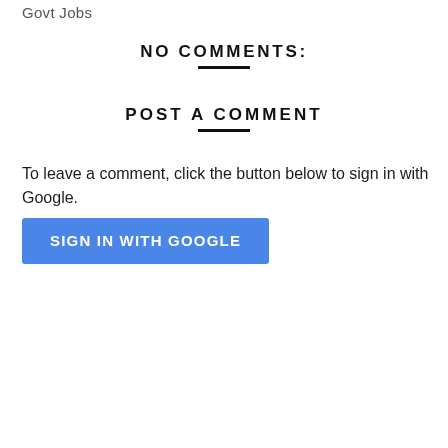Govt Jobs
NO COMMENTS:
POST A COMMENT
To leave a comment, click the button below to sign in with Google.
[Figure (other): Blue 'SIGN IN WITH GOOGLE' button]